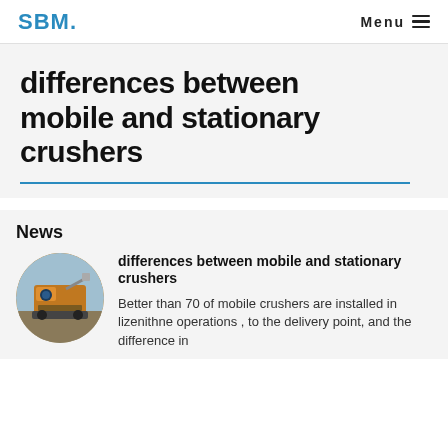SBM.   Menu ☰
differences between mobile and stationary crushers
News
[Figure (photo): Oval/circular photo of an industrial mobile crusher machine in yellow/orange color at a construction or mining site]
differences between mobile and stationary crushers
Better than 70 of mobile crushers are installed in lizenithne operations , to the delivery point, and the difference in